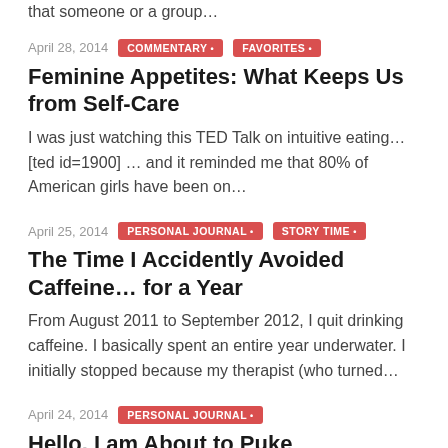that someone or a group…
April 28, 2014   COMMENTARY •   FAVORITES •
Feminine Appetites: What Keeps Us from Self-Care
I was just watching this TED Talk on intuitive eating… [ted id=1900] … and it reminded me that 80% of American girls have been on…
April 25, 2014   PERSONAL JOURNAL •   STORY TIME •
The Time I Accidently Avoided Caffeine… for a Year
From August 2011 to September 2012, I quit drinking caffeine. I basically spent an entire year underwater. I initially stopped because my therapist (who turned…
April 24, 2014   PERSONAL JOURNAL •
Hello, I am About to Puke
So the dog is fine now. But I'm still on and off nauseous. I've been working through, taking breaks